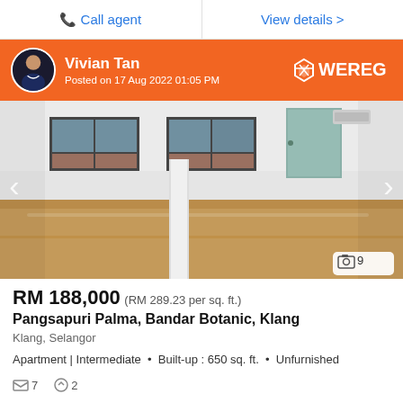📞 Call agent
View details >
Vivian Tan
Posted on 17 Aug 2022 01:05 PM
[Figure (photo): Interior room photo of an unfurnished apartment with windows, a door, and wooden floor]
RM 188,000 (RM 289.23 per sq. ft.)
Pangsapuri Palma, Bandar Botanic, Klang
Klang, Selangor
Apartment | Intermediate  •  Built-up : 650 sq. ft.  •  Unfurnished